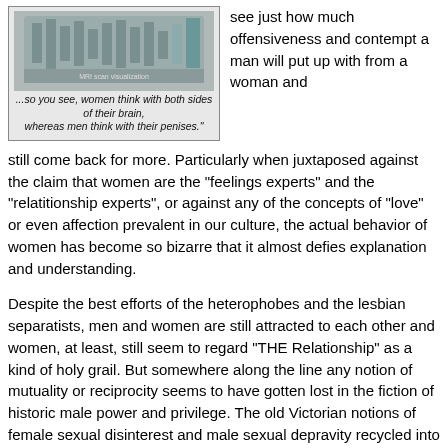[Figure (photo): Image of a brain scan or similar scientific illustration with a caption below reading: '...so you see, women think with both sides of their brain, whereas men think with their penises.']
see just how much offensiveness and contempt a man will put up with from a woman and still come back for more. Particularly when juxtaposed against the claim that women are the "feelings experts" and the "relatitionship experts", or against any of the concepts of "love" or even affection prevalent in our culture, the actual behavior of women has become so bizarre that it almost defies explanation and understanding.
Despite the best efforts of the heterophobes and the lesbian separatists, men and women are still attracted to each other and women, at least, still seem to regard "THE Relationship" as a kind of holy grail. But somewhere along the line any notion of mutuality or reciprocity seems to have gotten lost in the fiction of historic male power and privilege. The old Victorian notions of female sexual disinterest and male sexual depravity recycled into the legal mechanisms of Sexual Harassment, Date and Marital Rape, and pornography-as-violence-against-all-women have further